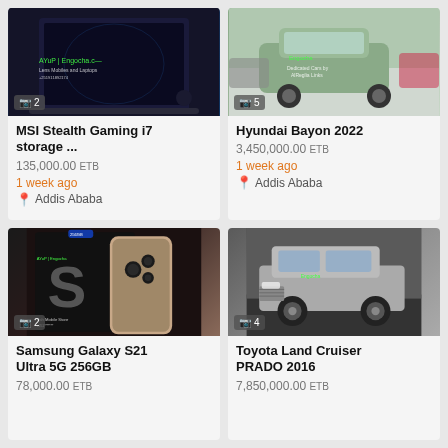[Figure (photo): Laptop product photo - MSI Stealth Gaming laptop on dark background]
📷 2
MSI Stealth Gaming i7 storage ...
135,000.00 ETB
1 week ago
Addis Ababa
[Figure (photo): Green Hyundai Bayon 2022 car in showroom]
📷 5
Hyundai Bayon 2022
3,450,000.00 ETB
1 week ago
Addis Ababa
[Figure (photo): Samsung Galaxy S21 Ultra 5G 256GB smartphone product photo]
📷 2
Samsung Galaxy S21 Ultra 5G 256GB
78,000.00 ETB
[Figure (photo): Silver Toyota Land Cruiser PRADO 2016 SUV parked outdoors]
📷 4
Toyota Land Cruiser PRADO 2016
7,850,000.00 ETB